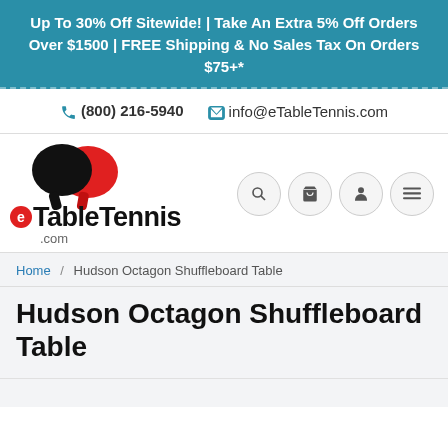Up To 30% Off Sitewide! | Take An Extra 5% Off Orders Over $1500 | FREE Shipping & No Sales Tax On Orders $75+*
(800) 216-5940  info@eTableTennis.com
[Figure (logo): eTableTennis.com logo with two table tennis paddles (black and red) above the text 'eTableTennis.com']
Home / Hudson Octagon Shuffleboard Table
Hudson Octagon Shuffleboard Table